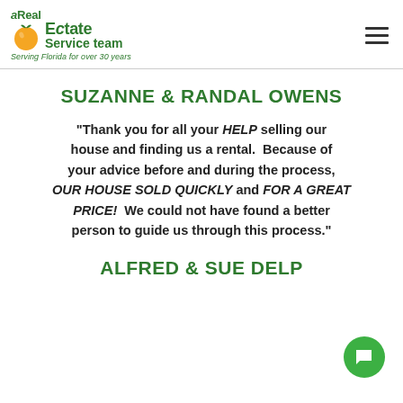a Real Estate Service team — Serving Florida for over 30 years
SUZANNE & RANDAL OWENS
"Thank you for all your HELP selling our house and finding us a rental. Because of your advice before and during the process, OUR HOUSE SOLD QUICKLY and FOR A GREAT PRICE! We could not have found a better person to guide us through this process."
ALFRED & SUE DELP